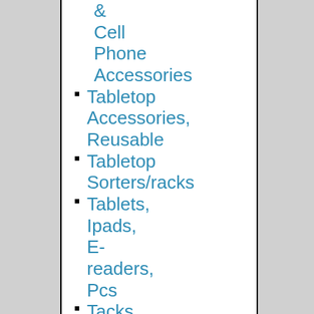& Cell Phone Accessories
Tabletop Accessories, Reusable
Tabletop Sorters/racks
Tablets, Ipads, E-readers, Pcs
Tacks
Tag Attachers
Tag Fasteners
Tally Counters
Tank-style Highlighters
Tape